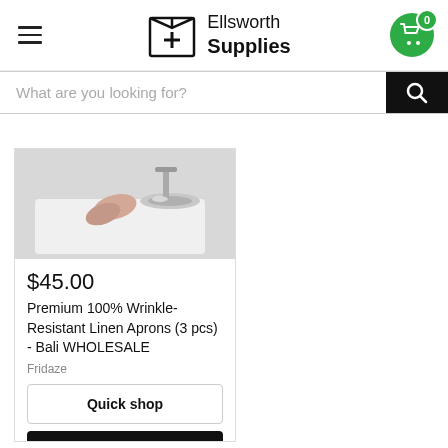[Figure (logo): Ellsworth Supplies logo — box with plus sign and brand name]
What are you looking for?
[Figure (photo): Product image showing hands washing or scrubbing a white surface]
$45.00
Premium 100% Wrinkle-Resistant Linen Aprons (3 pcs) - Bali WHOLESALE
Fridaze
Quick shop
Choose options